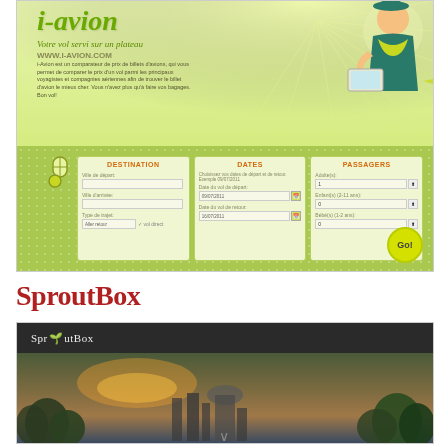[Figure (screenshot): i-avion website screenshot showing a flight comparison tool with logo, tagline 'Votre vol servi sur un plateau WWW.I-AVION.COM', a form with DESTINATION, DATES, and PASSAGERS columns, dotted green background, and a stewardess illustration]
SproutBox
[Figure (screenshot): SproutBox website screenshot with dark top navigation bar showing 'SproutBox' logo and a hero image of a city skyline at sunset with text 'Founders Helping Founders']